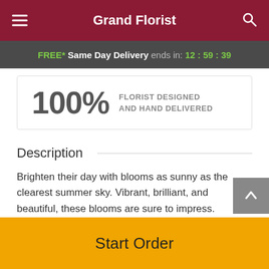Grand Florist
FREE* Same Day Delivery ends in: 12:59:39
100% FLORIST DESIGNED AND HAND DELIVERED
Description
Brighten their day with blooms as sunny as the clearest summer sky. Vibrant, brilliant, and beautiful, these blooms are sure to impress.
Yellow roses, green cymbidium orchids, blue hydrangea, and orange freesias are cheerfully arranged in an
Start Order